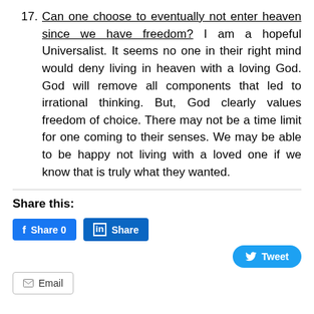17. Can one choose to eventually not enter heaven since we have freedom? I am a hopeful Universalist. It seems no one in their right mind would deny living in heaven with a loving God. God will remove all components that led to irrational thinking. But, God clearly values freedom of choice. There may not be a time limit for one coming to their senses. We may be able to be happy not living with a loved one if we know that is truly what they wanted.
Share this:
[Figure (other): Social share buttons: Facebook Share 0, LinkedIn Share, Twitter Tweet, Email]